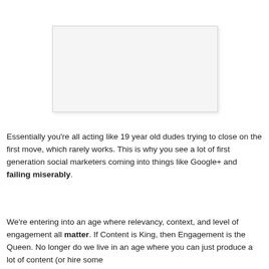[Figure (other): Blank white rectangular image placeholder with light gray background and subtle drop shadow]
Essentially you're all acting like 19 year old dudes trying to close on the first move, which rarely works. This is why you see a lot of first generation social marketers coming into things like Google+ and failing miserably.
We're entering into an age where relevancy, context, and level of engagement all matter. If Content is King, then Engagement is the Queen. No longer do we live in an age where you can just produce a lot of content (or hire some